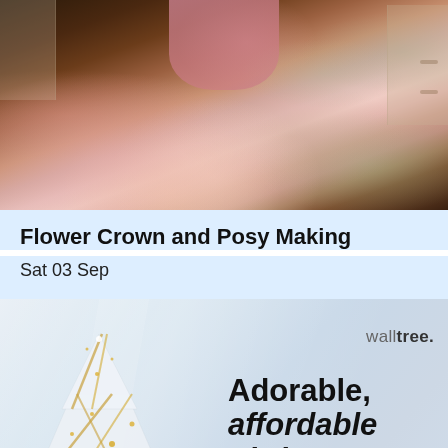[Figure (photo): A florist or person in pink clothing surrounded by colourful flowers including roses and mixed blooms in a flower shop or studio setting]
Flower Crown and Posy Making
Sat 03 Sep
[Figure (photo): Advertisement for walltree. showing a decorative white and gold glitter Christmas tree ornament on a light blue/grey background with text 'Adorable, affordable Christmas']